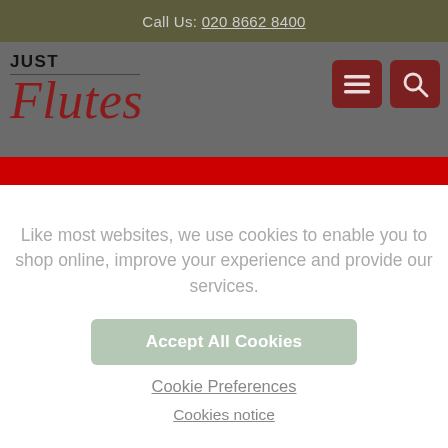Call Us: 020 8662 8400
[Figure (logo): Just Flutes logo with cursive red 'Flutes' text and 'JUST' in bold above a horizontal rule, plus hamburger menu and search icons]
Like most websites, we use cookies to enable you to shop online, improve your experience and provide our services.
Accept All Cookies
Cookie Preferences
Cookies notice